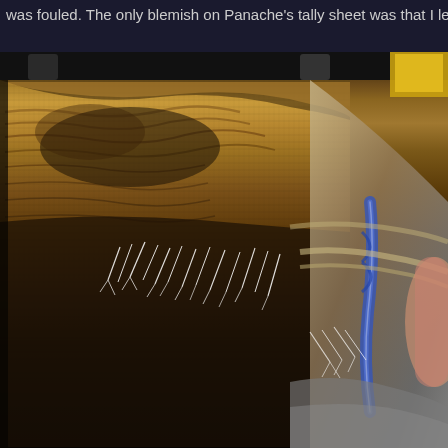was fouled. The only blemish on Panache's tally sheet was that I le
[Figure (photo): Close-up photograph of a heavily fouled boat hull showing marine growth, barnacles, and fibrous growth on the hull surface. Ropes and rigging visible on the right side. A person's hand partially visible at far right. Dark hull bottom contrasts with golden-brown fouling on upper portion.]